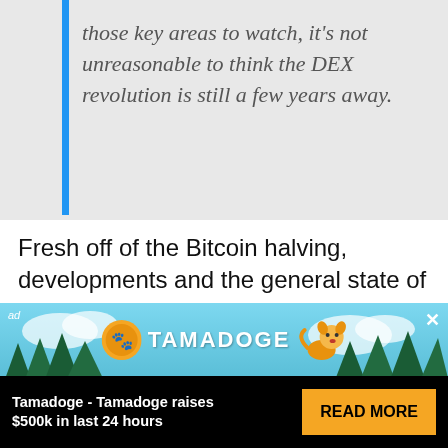those key areas to watch, it's not unreasonable to think the DEX revolution is still a few years away.
Fresh off of the Bitcoin halving, developments and the general state of the cryptocurrency industry are being scrutinized, as a greater number of established entities begin to consider
[Figure (infographic): Advertisement banner for Tamadoge showing logo with coin icon and dog mascot, tagline 'Tamadoge - Tamadoge raises $500k in last 24 hours' and a READ MORE button, with decorative tree/mountain background]